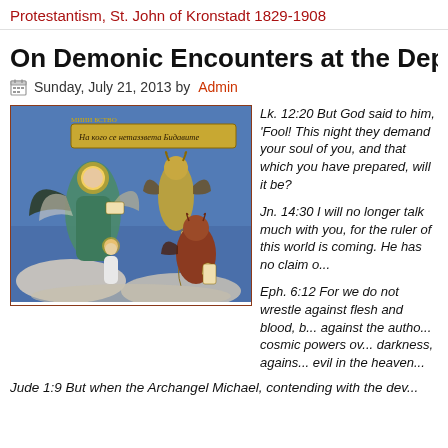Protestantism, St. John of Kronstadt 1829-1908
On Demonic Encounters at the Departure of the...
Sunday, July 21, 2013 by Admin
[Figure (illustration): Religious icon/fresco depicting an angel in green robes with wings holding a scroll, a small figure in white beside the angel, and demonic figures on the right side, against a blue sky background with clouds. A golden banner with Cyrillic text at the top.]
Lk. 12:20 But God said to him, 'Fool! This night they demand your soul of you, and that which you have prepared, will it be?'
Jn. 14:30 I will no longer talk much with you, for the ruler of this world is coming. He has no claim on me.
Eph. 6:12 For we do not wrestle against flesh and blood, but against the rulers, against the authorities, against the cosmic powers over this present darkness, against the spiritual forces of evil in the heavenly places.
Jude 1:9 But when the Archangel Michael, contending with the dev...